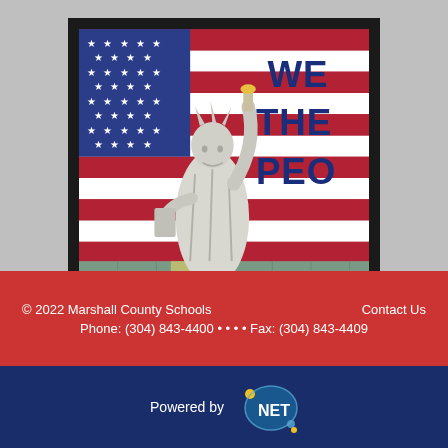[Figure (photo): Mural on a school wall depicting the Statue of Liberty in front of an American flag (red, white, blue stripes and stars), with text 'WE THE PEO[PLE]' in blue on the right, and painted green cinderblock wall at the bottom.]
© 2022 Marshall County Schools    Contact Us
Phone: (304) 843-4400 •••• Fax: (304) 843-4409
Powered by [rcSchoolNet logo]